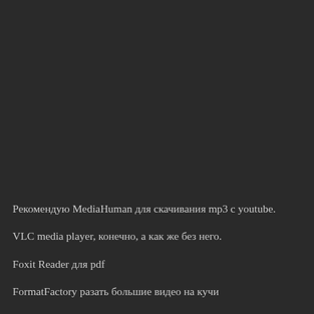Рекомендую MediaHuman для скачивания mp3 с youtube.
VLC media player, конечно, а как же без него.
Foxit Reader для pdf
FormatFactory разать большие видео на кучи
[Figure (screenshot): Dark background taking up the upper portion of the page, representing a screenshot or video frame with a nearly black appearance.]